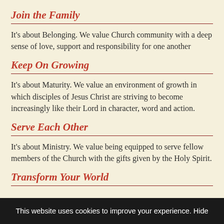Join the Family
It's about Belonging. We value Church community with a deep sense of love, support and responsibility for one another
Keep On Growing
It's about Maturity. We value an environment of growth in which disciples of Jesus Christ are striving to become increasingly like their Lord in character, word and action.
Serve Each Other
It's about Ministry. We value being equipped to serve fellow members of the Church with the gifts given by the Holy Spirit.
Transform Your World
This website uses cookies to improve your experience. Hide